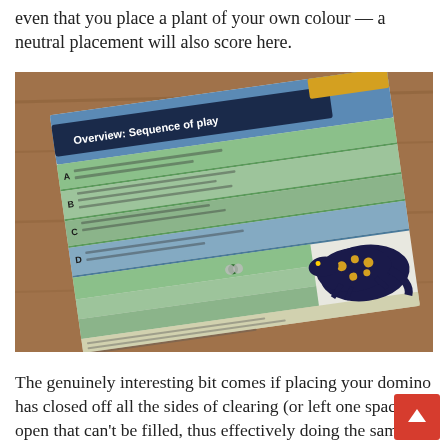even that you place a plant of your own colour — a neutral placement will also score here.
[Figure (photo): Photograph of a board game rulebook open to a page titled 'Overview: Sequence of play', showing a sequence of play steps with icons and a salamander/lizard illustration on the right side, on a wooden table surface.]
The genuinely interesting bit comes if placing your domino has closed off all the sides of clearing (or left one space open that can't be filled, thus effectively doing the same.) At this point, your normal plant